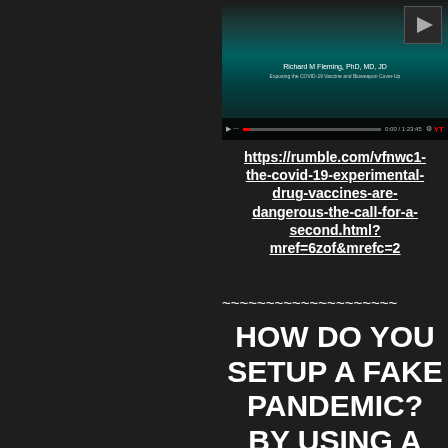[Figure (screenshot): Screenshot of a video player showing a presentation slide with 'Richard M Fleming, PhD, MD, JD' as the title on a teal/dark background, with a video icon in the top right corner and playback controls at the bottom.]
https://rumble.com/vfnwc1-the-covid-19-experimental-drug-vaccines-are-dangerous-the-call-for-a-second.html?mref=6zof&mrefc=2
~~~~~~~~~~~~~~~~~~~~
HOW DO YOU SETUP A FAKE PANDEMIC? BY USING A FAKE TEST TO DETERMINE THE VIRUS! WATCH THESE VIDEOS